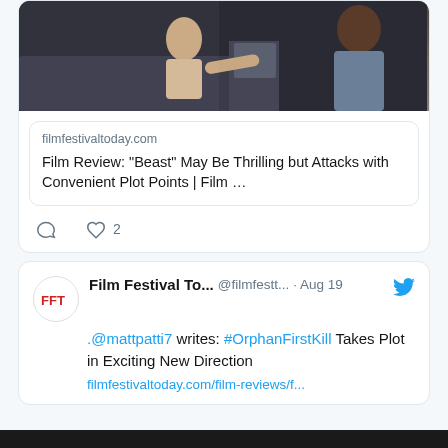[Figure (screenshot): Tweet card showing a link preview for a Film Festival Today article about the movie Beast, with a photo of two people talking through a car window. Below the preview image is the domain 'filmfestivaltoday.com' and the title 'Film Review: "Beast" May Be Thrilling but Attacks with Convenient Plot Points | Film ...' with comment and like (2) action buttons.]
Film Festival To... @filmfestt... · Aug 19
.@mattpatti7 writes: #OrphanFirstKill Takes Plot in Exciting New Direction
filmfestivaltoday.com/film-reviews/f...